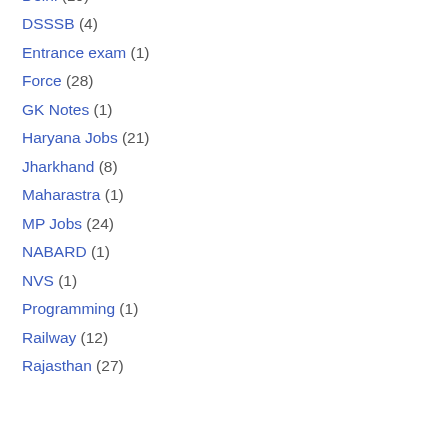Delhi (19)
DSSSB (4)
Entrance exam (1)
Force (28)
GK Notes (1)
Haryana Jobs (21)
Jharkhand (8)
Maharastra (1)
MP Jobs (24)
NABARD (1)
NVS (1)
Programming (1)
Railway (12)
Rajasthan (27)